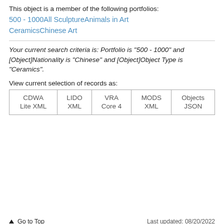This object is a member of the following portfolios:
500 - 1000
All Sculpture
Animals in Art
Ceramics
Chinese Art
Your current search criteria is: Portfolio is "500 - 1000" and [Object]Nationality is "Chinese" and [Object]Object Type is "Ceramics".
View current selection of records as:
| CDWA Lite XML | LIDO XML | VRA Core 4 | MODS XML | Objects JSON |
| --- | --- | --- | --- | --- |
↑ Go to Top    Last updated: 08/20/2022